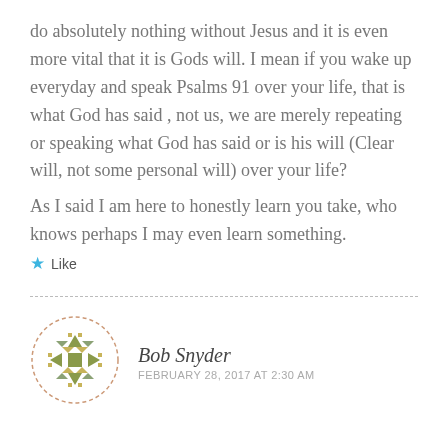do absolutely nothing without Jesus and it is even more vital that it is Gods will. I mean if you wake up everyday and speak Psalms 91 over your life, that is what God has said , not us, we are merely repeating or speaking what God has said or is his will (Clear will, not some personal will) over your life?
As I said I am here to honestly learn you take, who knows perhaps I may even learn something.
★ Like
Bob Snyder
FEBRUARY 28, 2017 AT 2:30 AM